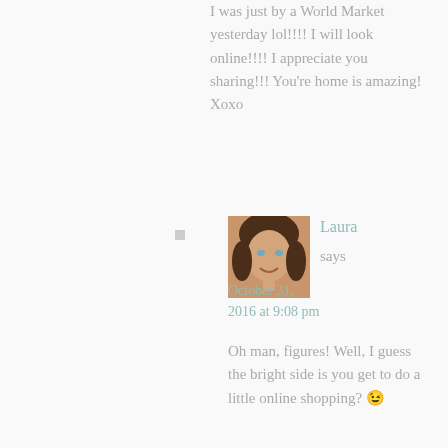I was just by a World Market yesterday lol!!!! I will look online!!!! I appreciate you sharing!!! You're home is amazing! Xoxo
[Figure (photo): Profile photo of a woman with brown hair, smiling, close-up portrait]
Laura says
October 31, 2016 at 9:08 pm
Oh man, figures! Well, I guess the bright side is you get to do a little online shopping? 😉